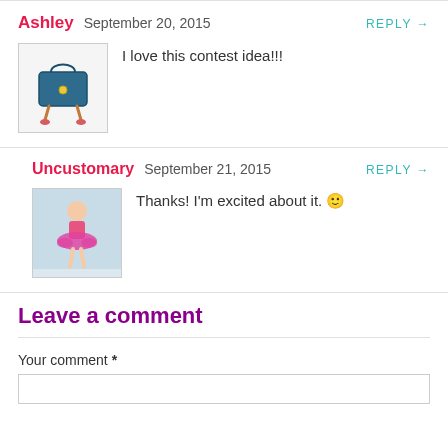Ashley  September 20, 2015  REPLY →
[Figure (illustration): Avatar image of Ashley showing a blue handbag illustration on a white background]
I love this contest idea!!!
Uncustomary  September 21, 2015  REPLY →
[Figure (photo): Avatar photo of Uncustomary showing a person in a pink tutu dress outdoors]
Thanks! I'm excited about it. 🙂
Leave a comment
Your comment *